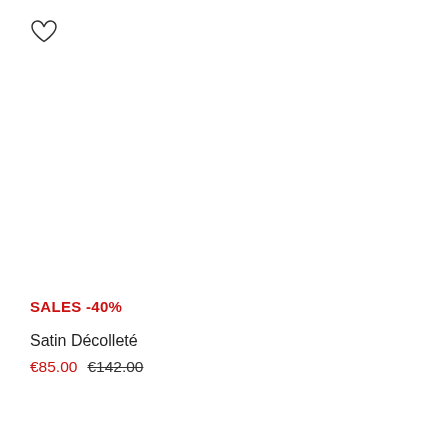[Figure (illustration): Heart/wishlist icon outline at top left]
SALES  -40%
Satin Décolleté
€85.00  €142.00